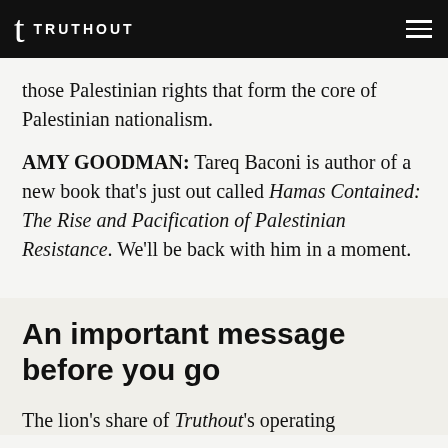TRUTHOUT
those Palestinian rights that form the core of Palestinian nationalism.
AMY GOODMAN: Tareq Baconi is author of a new book that’s just out called Hamas Contained: The Rise and Pacification of Palestinian Resistance. We’ll be back with him in a moment.
An important message before you go
The lion’s share of Truthout’s operating